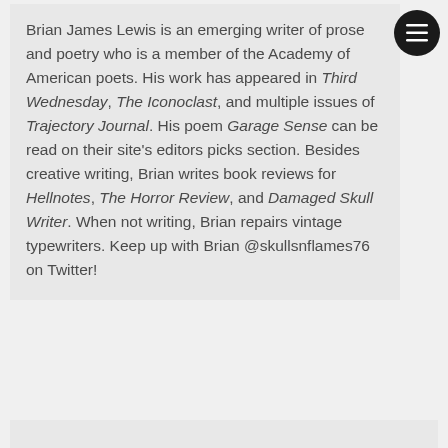Brian James Lewis is an emerging writer of prose and poetry who is a member of the Academy of American poets. His work has appeared in Third Wednesday, The Iconoclast, and multiple issues of Trajectory Journal. His poem Garage Sense can be read on their site's editors picks section. Besides creative writing, Brian writes book reviews for Hellnotes, The Horror Review, and Damaged Skull Writer. When not writing, Brian repairs vintage typewriters. Keep up with Brian @skullsnflames76 on Twitter!